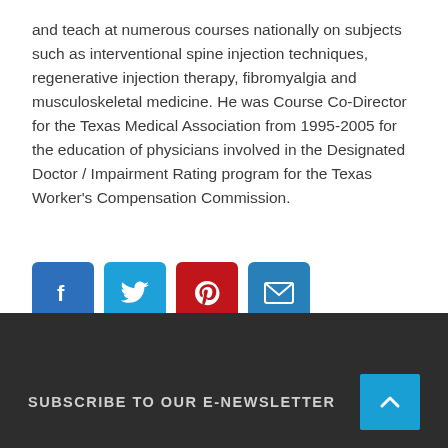and teach at numerous courses nationally on subjects such as interventional spine injection techniques, regenerative injection therapy, fibromyalgia and musculoskeletal medicine. He was Course Co-Director for the Texas Medical Association from 1995-2005 for the education of physicians involved in the Designated Doctor / Impairment Rating program for the Texas Worker's Compensation Commission.
[Figure (infographic): Four social media share buttons: Facebook (blue), Twitter (light blue), Pinterest (red), Email (blue)]
SUBSCRIBE TO OUR E-NEWSLETTER